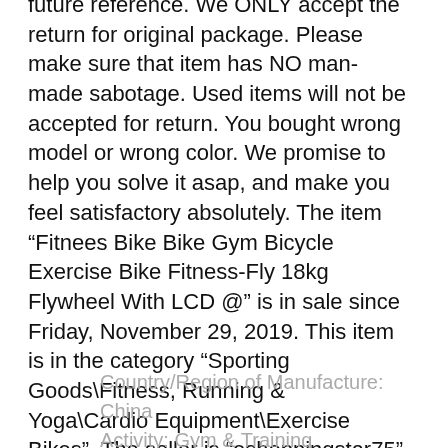future reference. We ONLY accept the return for original package. Please make sure that item has NO man-made sabotage. Used items will not be accepted for return. You bought wrong model or wrong color. We promise to help you solve it asap, and make you feel satisfactory absolutely. The item “Fitnees Bike Bike Gym Bicycle Exercise Bike Fitness-Fly 18kg Flywheel With LCD @” is in sale since Friday, November 29, 2019. This item is in the category “Sporting Goods\Fitness, Running & Yoga\Cardio Equipment\Exercise Bikes”. The seller is “eshoppingstar75” and is located in Hacienda Heights, California. This item can be shipped to United States.
Country/Region of Manufacture: China
Activity: Gym & Training
Features: Exercise Bike